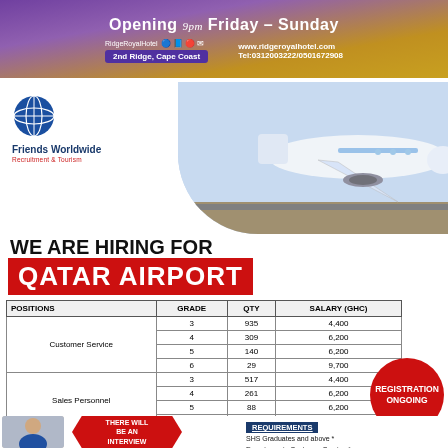[Figure (infographic): Hotel banner: RidgeRoyal Hotel, Opening 9pm Friday-Sunday, 2nd Ridge Cape Coast, www.ridgeroyalhotel.com, Tel:0312003222/0501672908]
[Figure (infographic): Friends Worldwide Recruitment & Tourism logo with globe icon, alongside airplane photo background]
WE ARE HIRING FOR
QATAR AIRPORT
| POSITIONS | GRADE | QTY | SALARY (GHC) |
| --- | --- | --- | --- |
| Customer Service | 3 | 935 | 4,400 |
| Customer Service | 4 | 309 | 6,200 |
| Customer Service | 5 | 140 | 6,200 |
| Customer Service | 6 | 29 | 9,700 |
| Sales Personnel | 3 | 517 | 4,400 |
| Sales Personnel | 4 | 261 | 6,200 |
| Sales Personnel | 5 | 88 | 6,200 |
| Sales Personnel | 6 | 39 | 9,700 |
| Customer Service II | 3 | 116 | 5,300 |
| Customer Service II | 4 | 17 | 7,100 |
| Customer Service II | 5 | 15 | 7,100 |
| Customer Service II | 6 | 4 | 10,600 |
REGISTRATION ONGOING
THERE WILL BE AN INTERVIEW
REQUIREMENTS
SHS Graduates and above *
Experience in Customer Service *
Good Communication skills *
Accomodation *
Transportation *